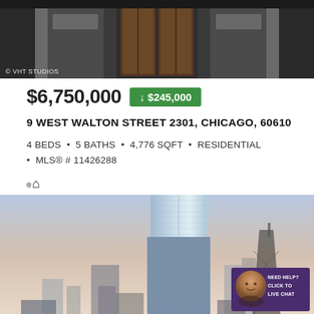[Figure (photo): Building entrance exterior photo with dark stone facade and large wooden/bronze doors. Watermark: © VHT STUDIOS]
$6,750,000 ↓ $245,000
9 WEST WALTON STREET 2301, CHICAGO, 60610
4 BEDS • 5 BATHS • 4,776 SQFT • RESIDENTIAL • MLS® # 11426288
[Figure (photo): Exterior photo of a tall modern glass skyscraper in Chicago skyline at dusk with gradient blue/pink sky. Chat widget overlay in bottom right corner reading NEED HELP? CLICK TO LIVE CHAT.]